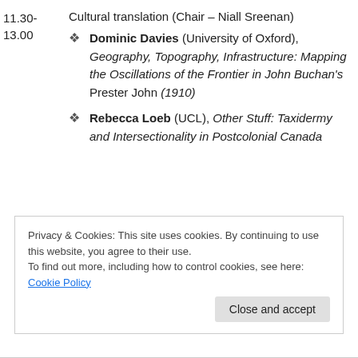11.30-13.00  Cultural translation (Chair – Niall Sreenan)
Dominic Davies (University of Oxford), Geography, Topography, Infrastructure: Mapping the Oscillations of the Frontier in John Buchan's Prester John (1910)
Rebecca Loeb (UCL), Other Stuff: Taxidermy and Intersectionality in Postcolonial Canada
Privacy & Cookies: This site uses cookies. By continuing to use this website, you agree to their use. To find out more, including how to control cookies, see here: Cookie Policy